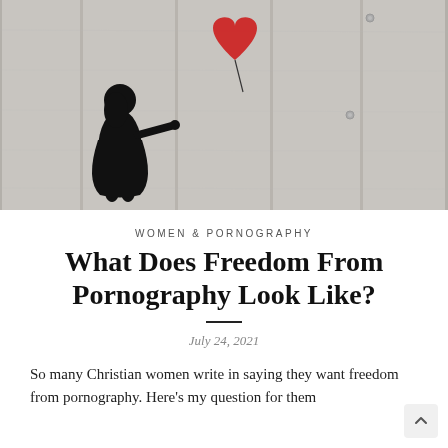[Figure (photo): Black and white photograph of a Banksy-style street art stencil showing a small girl reaching toward a red heart-shaped balloon floating away, set against a concrete wall with vertical panels.]
WOMEN & PORNOGRAPHY
What Does Freedom From Pornography Look Like?
July 24, 2021
So many Christian women write in saying they want freedom from pornography. Here's my question for them